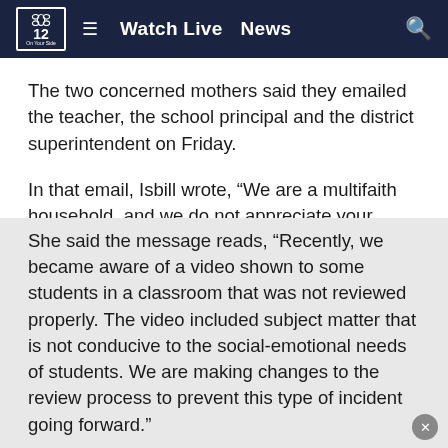NBC 12 ≡ Watch Live  News 🔍
The two concerned mothers said they emailed the teacher, the school principal and the district superintendent on Friday.
In that email, Isbill wrote, “We are a multifaith household, and we do not appreciate your input.”
Isbill said she received a message from Thurman White Principal Matthew Jackson on Monday at 5:35 p.m.
She said the message reads, “Recently, we became aware of a video shown to some students in a classroom that was not reviewed properly. The video included subject matter that is not conducive to the social-emotional needs of students. We are making changes to the review process to prevent this type of incident going forward.”